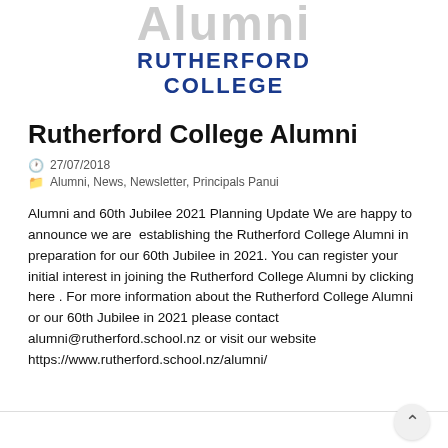Alumni RUTHERFORD COLLEGE
Rutherford College Alumni
27/07/2018
Alumni, News, Newsletter, Principals Panui
Alumni and 60th Jubilee 2021 Planning Update We are happy to announce we are establishing the Rutherford College Alumni in preparation for our 60th Jubilee in 2021. You can register your initial interest in joining the Rutherford College Alumni by clicking here . For more information about the Rutherford College Alumni or our 60th Jubilee in 2021 please contact alumni@rutherford.school.nz or visit our website https://www.rutherford.school.nz/alumni/